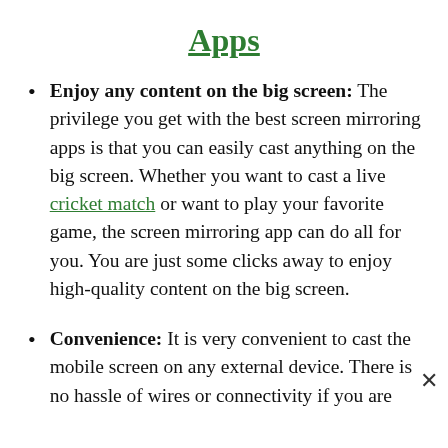Apps
Enjoy any content on the big screen: The privilege you get with the best screen mirroring apps is that you can easily cast anything on the big screen. Whether you want to cast a live cricket match or want to play your favorite game, the screen mirroring app can do all for you. You are just some clicks away to enjoy high-quality content on the big screen.
Convenience: It is very convenient to cast the mobile screen on any external device. There is no hassle of wires or connectivity if you are